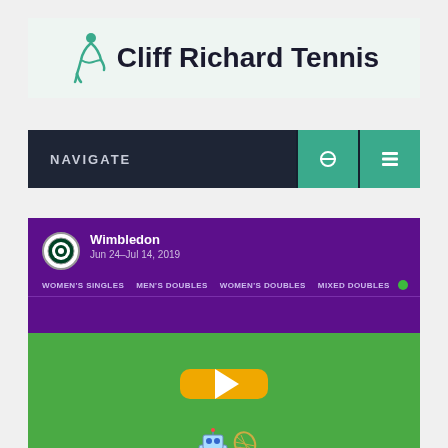[Figure (logo): Cliff Richard Tennis logo with teal tennis player silhouette icon and bold text]
NAVIGATE
[Figure (screenshot): Wimbledon tournament card showing purple header with Wimbledon badge, date Jun 24–Jul 14, 2019, navigation tabs for WOMEN'S SINGLES, MEN'S DOUBLES, WOMEN'S DOUBLES, MIXED DOUBLES, and green court area with play button and robot figure]